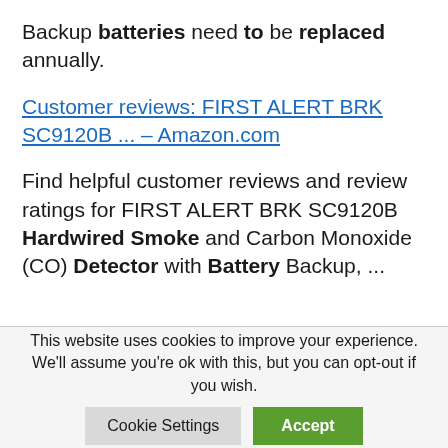Backup batteries need to be replaced annually.
Customer reviews: FIRST ALERT BRK SC9120B ... – Amazon.com
Find helpful customer reviews and review ratings for FIRST ALERT BRK SC9120B Hardwired Smoke and Carbon Monoxide (CO) Detector with Battery Backup, ...
This website uses cookies to improve your experience. We'll assume you're ok with this, but you can opt-out if you wish. [Cookie Settings] [Accept]